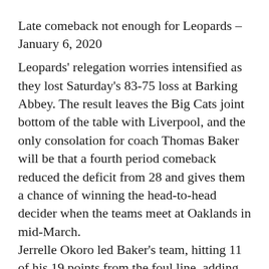Late comeback not enough for Leopards – January 6, 2020
Leopards' relegation worries intensified as they lost Saturday's 83-75 loss at Barking Abbey. The result leaves the Big Cats joint bottom of the table with Liverpool, and the only consolation for coach Thomas Baker will be that a fourth period comeback reduced the deficit from 28 and gives them a chance of winning the head-to-head decider when the teams meet at Oaklands in mid-March. Jerrelle Okoro led Baker's team, hitting 11 of his 19 points from the foul line, adding four